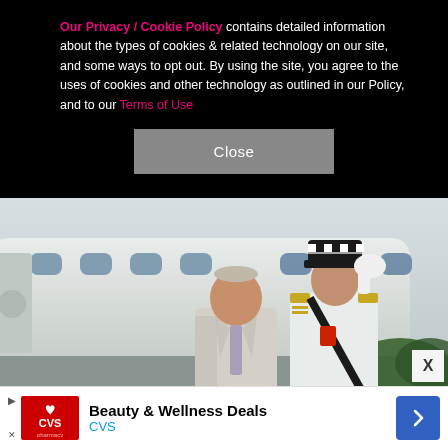Our Privacy / Cookie Policy contains detailed information about the types of cookies & related technology on our site, and some ways to opt out. By using the site, you agree to the uses of cookies and other technology as outlined in our Policy, and to our Terms of Use
[Figure (photo): Two men standing in front of an aircraft. An older man in a light grey suit and tie stands in front. Behind him, a man in white military uniform with black-and-white checkered cap salutes with a white glove. The officer has gold epaulettes and a red medal on his uniform.]
[Figure (infographic): Advertisement banner for CVS pharmacy: Beauty & Wellness Deals. CVS logo on left (red background, white text and heart+pharmacy logo). Text reads 'Beauty & Wellness Deals' in bold and 'CVS' in blue. Blue navigation arrow on right.]